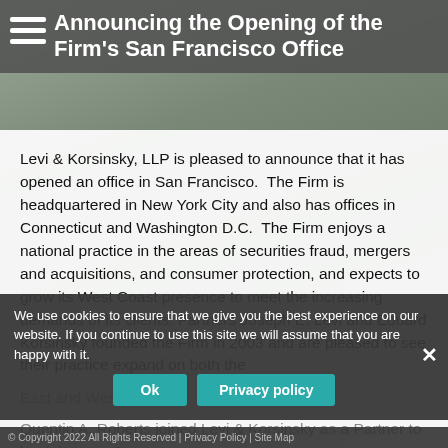Announcing the Opening of the Firm's San Francisco Office
Levi & Korsinsky, LLP is pleased to announce that it has opened an office in San Francisco.  The Firm is headquartered in New York City and also has offices in Connecticut and Washington D.C.  The Firm enjoys a national practice in the areas of securities fraud, mergers and acquisitions, and consumer protection, and expects to grow its West Coast presence to meet the increasing demands of its clients. Partners Joseph E. Levi and Eduard Korsinsky founded the Firm in 2003 and are pleased to see their practice expand on both the East and West Coasts.
Quentin A. Roberts joined Levi & Korsinsky as a Partner to lead the new San
We use cookies to ensure that we give you the best experience on our website. If you continue to use this site we will assume that you are happy with it.
© Copyright 2022 All Rights Reserved | Privacy Policy | Site Map